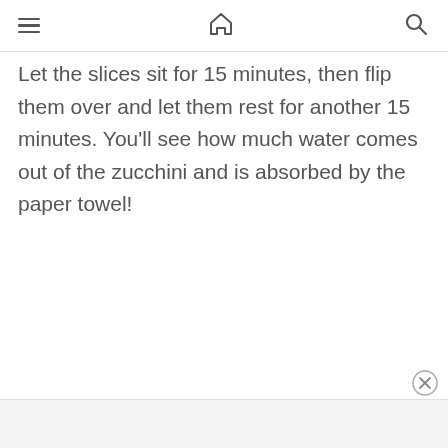☰ 🏠 🔍
Let the slices sit for 15 minutes, then flip them over and let them rest for another 15 minutes. You'll see how much water comes out of the zucchini and is absorbed by the paper towel!